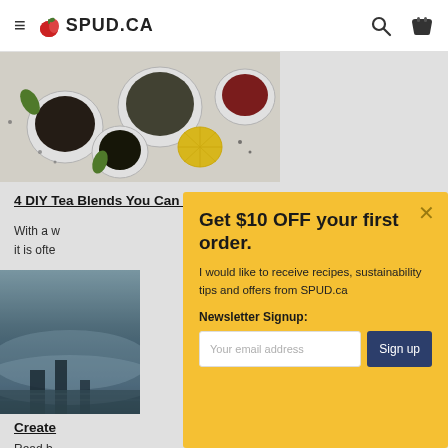≡ 🍎SPUD.CA [search] [basket]
[Figure (photo): Overhead photo of various tea blends in white bowls on a white surface, with lemon slices and herbs.]
4 DIY Tea Blends You Can Create On Your Own
With a w... it is ofte...
[Figure (photo): Dark moody photo of stormy ocean or misty environment in blue/grey tones.]
Create...
Read b...
[Figure (infographic): Modal popup with yellow background offering $10 off first order newsletter signup for SPUD.ca. Includes headline, subtext, Newsletter Signup label, email input, and Sign up button.]